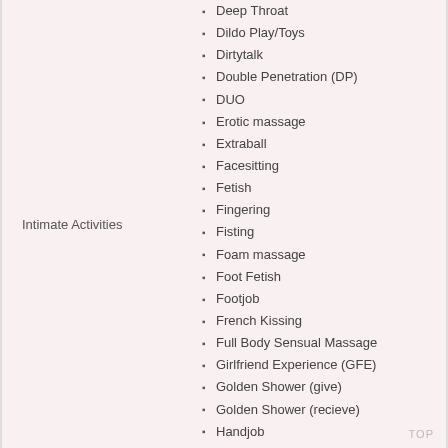Intimate Activities
Deep Throat
Dildo Play/Toys
Dirtytalk
Double Penetration (DP)
DUO
Erotic massage
Extraball
Facesitting
Fetish
Fingering
Fisting
Foam massage
Foot Fetish
Footjob
French Kissing
Full Body Sensual Massage
Girlfriend Experience (GFE)
Golden Shower (give)
Golden Shower (recieve)
Handjob
Intimate massage
Intimate shaving
Kamasutra
TOP